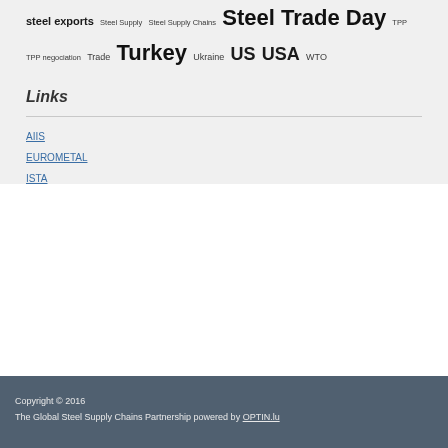steel exports Steel Supply Steel Supply Chains Steel Trade Day TPP TPP negociation Trade Turkey Ukraine US USA WTO
Links
AIIS
EUROMETAL
ISTA
Copyright © 2016
The Global Steel Supply Chains Partnership powered by OPTIN.lu